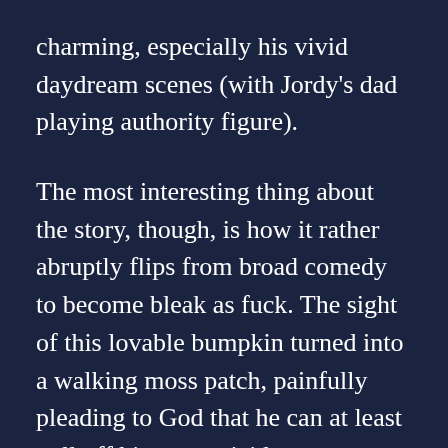charming, especially his vivid daydream scenes (with Jordy's dad playing authority figure).
The most interesting thing about the story, though, is how it rather abruptly flips from broad comedy to become bleak as fuck. The sight of this lovable bumpkin turned into a walking moss patch, painfully pleading to God that he can at least pull off his own suicide successfully, tends to sour all of the chuckles rather quickly. It also gives a nihilistic touch to the green apocalypse hinted to be on the horizon. Pinning down the lesson in this morality tale is harder than all the rest, since the